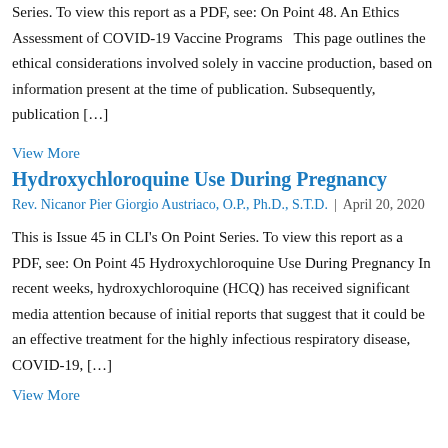Series. To view this report as a PDF, see: On Point 48. An Ethics Assessment of COVID-19 Vaccine Programs    This page outlines the ethical considerations involved solely in vaccine production, based on information present at the time of publication. Subsequently, publication […]
View More
Hydroxychloroquine Use During Pregnancy
Rev. Nicanor Pier Giorgio Austriaco, O.P., Ph.D., S.T.D.  |  April 20, 2020
This is Issue 45 in CLI's On Point Series. To view this report as a PDF, see: On Point 45 Hydroxychloroquine Use During Pregnancy  In recent weeks, hydroxychloroquine (HCQ) has received significant media attention because of initial reports that suggest that it could be an effective treatment for the highly infectious respiratory disease, COVID-19, […]
View More